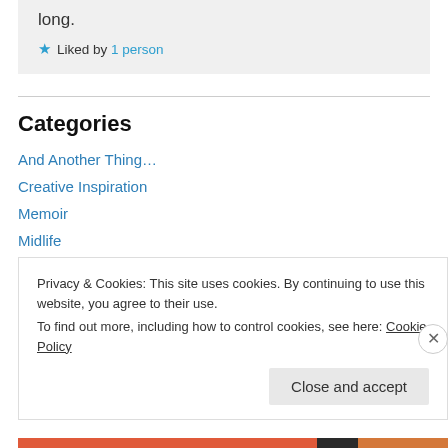long.
★ Liked by 1 person
Categories
And Another Thing…
Creative Inspiration
Memoir
Midlife
Privacy & Cookies: This site uses cookies. By continuing to use this website, you agree to their use. To find out more, including how to control cookies, see here: Cookie Policy
Close and accept